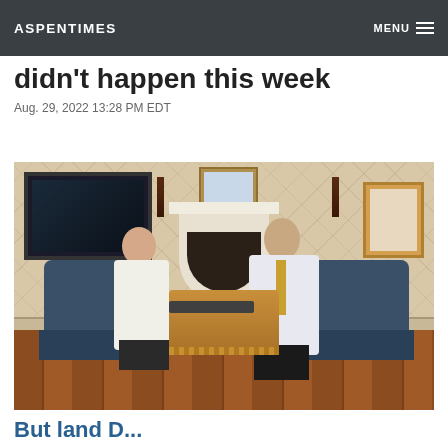ASPENTIMES  MENU
didn't happen this week
Aug. 29, 2022 13:28 PM EDT
[Figure (photo): Two men sitting in ornate blue chairs in an elegant room with a fireplace, TV, and hardwood floors, facing each other across an ottoman with a laptop on it.]
But land D...